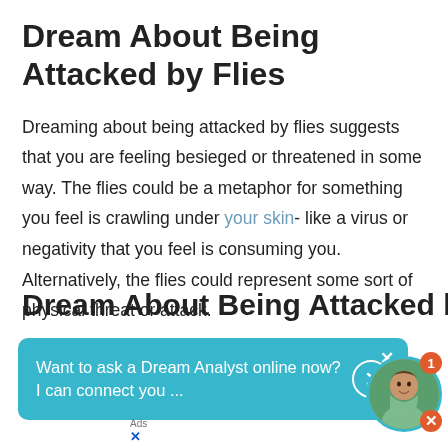Dream About Being Attacked by Flies
Dreaming about being attacked by flies suggests that you are feeling besieged or threatened in some way. The flies could be a metaphor for something you feel is crawling under your skin- like a virus or negativity that you feel is consuming you. Alternatively, the flies could represent some sort of physical threat or attack.
Dream About Being Attacked by
[Figure (screenshot): Chat widget overlay with teal background reading 'Want to ask a Dream Analyst online now? I can connect you ...' with a close X button and arrow. To the right is a circular avatar of a woman with a red badge showing '1' and a red X button.]